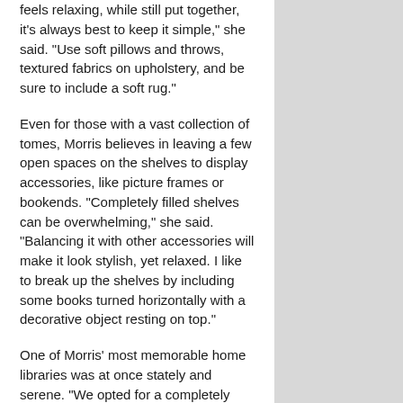feels relaxing, while still put together, it's always best to keep it simple," she said. "Use soft pillows and throws, textured fabrics on upholstery, and be sure to include a soft rug."
Even for those with a vast collection of tomes, Morris believes in leaving a few open spaces on the shelves to display accessories, like picture frames or bookends. "Completely filled shelves can be overwhelming," she said. "Balancing it with other accessories will make it look stylish, yet relaxed. I like to break up the shelves by including some books turned horizontally with a decorative object resting on top."
One of Morris' most memorable home libraries was at once stately and serene. "We opted for a completely wood-filled space with rich leathers," she said. "Since the space was filled with darker wood tones, we used large windows for added brightness. We also had the mullions of the windows faux painted to match the wood for a seamless look."